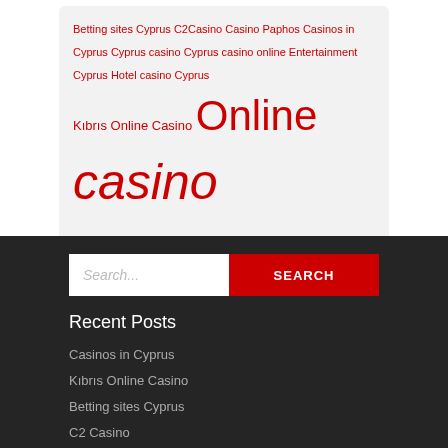Betting sites Cyprus C2Casino Casino Paphos Casinos in Cyprus Cyprus casino Cyprus casino online Entertainment Cyprus Hotel casino Cyprus Kıbrıs Online Casino Online casino cyprus Online gambling in Cyprus online slots Cyprus Διαδικτυακό καζίνο Κύπρος онлайн-казино на Кипре
[Figure (other): Search bar with text input placeholder 'Search...' and a red SEARCH button]
Recent Posts
Casinos in Cyprus
Kıbrıs Online Casino
Betting sites Cyprus
C2 Casino